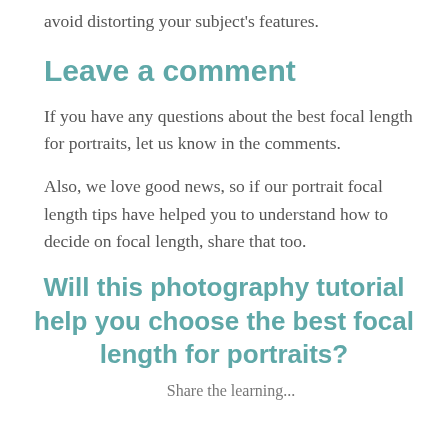avoid distorting your subject's features.
Leave a comment
If you have any questions about the best focal length for portraits, let us know in the comments.
Also, we love good news, so if our portrait focal length tips have helped you to understand how to decide on focal length, share that too.
Will this photography tutorial help you choose the best focal length for portraits?
Share the learning...